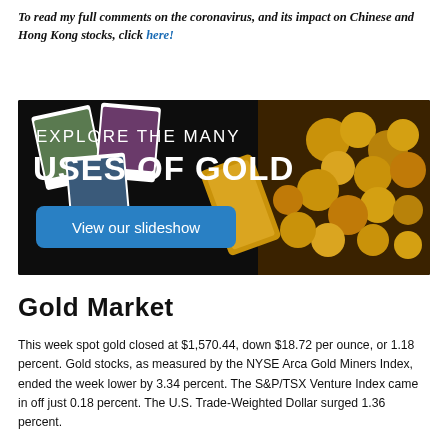To read my full comments on the coronavirus, and its impact on Chinese and Hong Kong stocks, click here!
[Figure (illustration): Dark banner advertisement with text 'EXPLORE THE MANY USES OF GOLD' and a blue button labeled 'View our slideshow', with background imagery of gold coins and jewelry.]
Gold Market
This week spot gold closed at $1,570.44, down $18.72 per ounce, or 1.18 percent. Gold stocks, as measured by the NYSE Arca Gold Miners Index, ended the week lower by 3.34 percent. The S&P/TSX Venture Index came in off just 0.18 percent. The U.S. Trade-Weighted Dollar surged 1.36 percent.